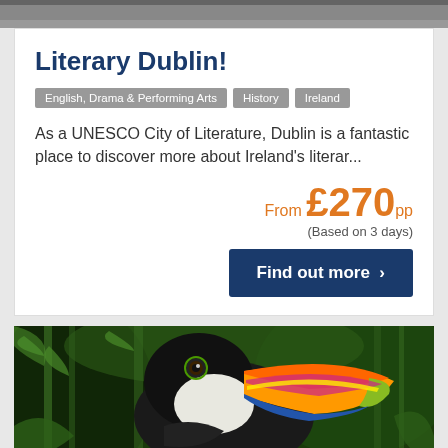[Figure (photo): Top partial image strip (dark/grey, partially cropped person or landscape)]
Literary Dublin!
English, Drama & Performing Arts
History
Ireland
As a UNESCO City of Literature, Dublin is a fantastic place to discover more about Ireland's literar...
From £270pp
(Based on 3 days)
Find out more ›
[Figure (photo): Close-up photo of a colorful toucan bird with vibrant orange and yellow beak, against green bamboo foliage background]